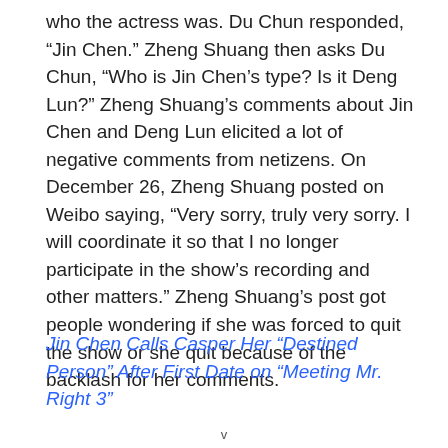who the actress was. Du Chun responded, “Jin Chen.” Zheng Shuang then asks Du Chun, “Who is Jin Chen’s type? Is it Deng Lun?” Zheng Shuang’s comments about Jin Chen and Deng Lun elicited a lot of negative comments from netizens. On December 26, Zheng Shuang posted on Weibo saying, “Very sorry, truly very sorry. I will coordinate it so that I no longer participate in the show’s recording and other matters.” Zheng Shuang’s post got people wondering if she was forced to quit the show or she quit because of the backlash for her comments.
Jin Chen Calls Casper Her “Destined Person” After First Date on “Meeting Mr. Right 3”
v